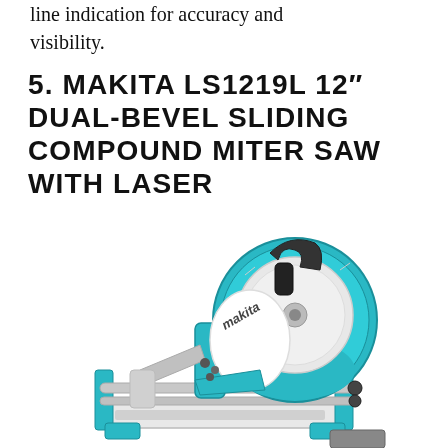line indication for accuracy and visibility.
5. MAKITA LS1219L 12″ DUAL-BEVEL SLIDING COMPOUND MITER SAW WITH LASER
[Figure (photo): Makita LS1219L 12-inch dual-bevel sliding compound miter saw in teal/turquoise and silver color, photographed from a front-side angle showing the blade guard, handle, sliding rails, and base.]